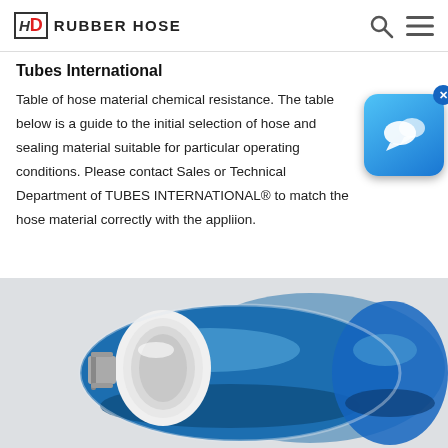HD RUBBER HOSE
Tubes International
Table of hose material chemical resistance. The table below is a guide to the initial selection of hose and sealing material suitable for particular operating conditions. Please contact Sales or Technical Department of TUBES INTERNATIONAL® to match the hose material correctly with the appliion.
[Figure (photo): Blue rubber hose coiled, showing white interior lining, with a metal clamp visible on the left end.]